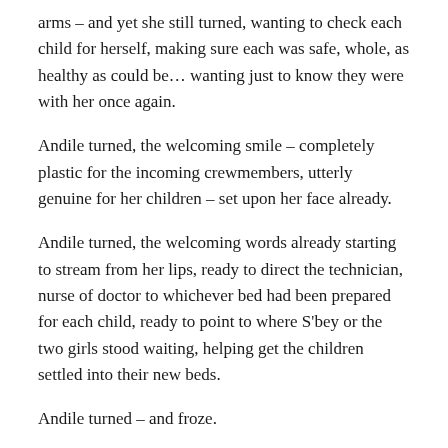arms – and yet she still turned, wanting to check each child for herself, making sure each was safe, whole, as healthy as could be… wanting just to know they were with her once again.
Andile turned, the welcoming smile – completely plastic for the incoming crewmembers, utterly genuine for her children – set upon her face already.
Andile turned, the welcoming words already starting to stream from her lips, ready to direct the technician, nurse of doctor to whichever bed had been prepared for each child, ready to point to where S'bey or the two girls stood waiting, helping get the children settled into their new beds.
Andile turned – and froze.
“You… you…” she began, horrified, shocked appalled – furious – then stopped.
“B-4,” she said at last, finally recognizing the newcomer for who he was.